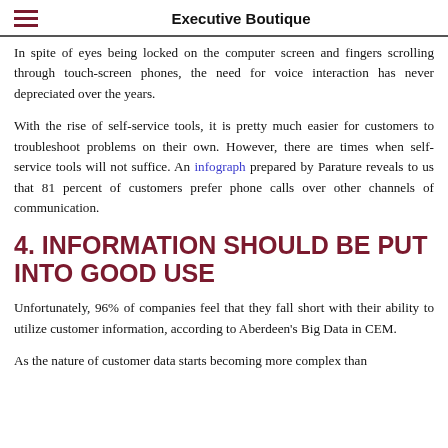Executive Boutique
In spite of eyes being locked on the computer screen and fingers scrolling through touch-screen phones, the need for voice interaction has never depreciated over the years.
With the rise of self-service tools, it is pretty much easier for customers to troubleshoot problems on their own. However, there are times when self-service tools will not suffice. An infograph prepared by Parature reveals to us that 81 percent of customers prefer phone calls over other channels of communication.
4. INFORMATION SHOULD BE PUT INTO GOOD USE
Unfortunately, 96% of companies feel that they fall short with their ability to utilize customer information, according to Aberdeen's Big Data in CEM.
As the nature of customer data starts becoming more complex than